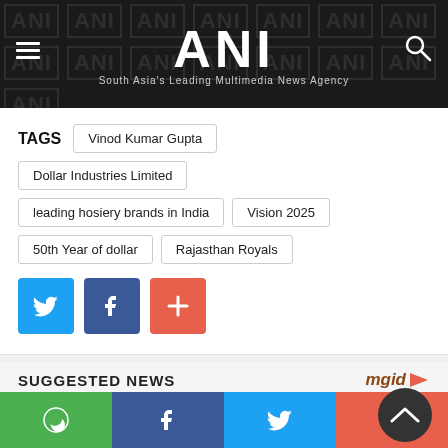ANI — South Asia's Leading Multimedia News Agency
TAGS
Vinod Kumar Gupta
Dollar Industries Limited
leading hosiery brands in India
Vision 2025
50th Year of dollar
Rajasthan Royals
[Figure (infographic): Social sharing buttons: Twitter (blue), Facebook (dark blue), Plus/share (orange-red)]
SUGGESTED NEWS
[Figure (screenshot): mgid logo with play arrow icon and suggested news thumbnail strip]
Bottom navigation bar with WhatsApp, Facebook, Twitter, and Plus share buttons